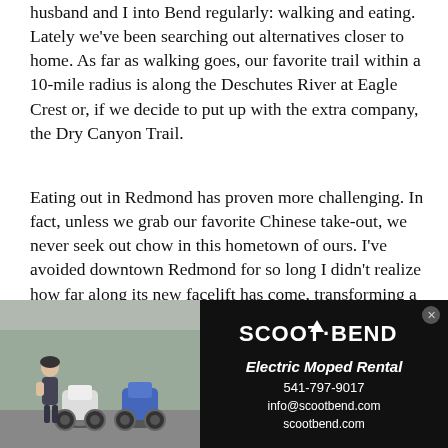husband and I into Bend regularly: walking and eating. Lately we've been searching out alternatives closer to home. As far as walking goes, our favorite trail within a 10-mile radius is along the Deschutes River at Eagle Crest or, if we decide to put up with the extra company, the Dry Canyon Trail.
Eating out in Redmond has proven more challenging. In fact, unless we grab our favorite Chinese take-out, we never seek out chow in this hometown of ours. I've avoided downtown Redmond for so long I didn't realize how far along its new facelift has come, transforming a small town frontage into an inviting area to shop, grab a coffee, or go out to eat.
Last week I stopped inside the new, locally owned Green Plow Coffeehouse, a welcome addition to downtown that touts itself as a living room for the
[Figure (photo): Advertisement for Scoot Bend Electric Moped Rental. Left side shows a photo of electric mopeds parked outdoors with a person standing nearby. Right side is a black background with white text showing: SCOOT·BEND, Electric Moped Rental, 541-797-9017, info@scootbend.com, scootbend.com]